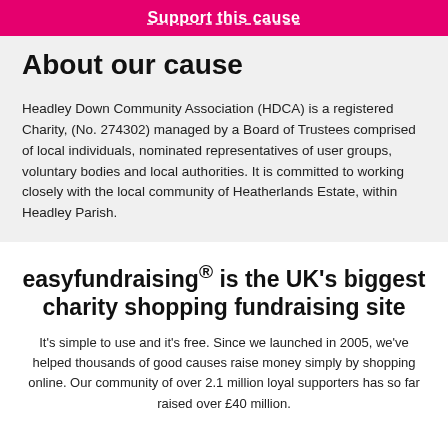Support this cause
About our cause
Headley Down Community Association (HDCA) is a registered Charity, (No. 274302) managed by a Board of Trustees comprised of local individuals, nominated representatives of user groups, voluntary bodies and local authorities. It is committed to working closely with the local community of Heatherlands Estate, within Headley Parish.
easyfundraising® is the UK's biggest charity shopping fundraising site
It's simple to use and it's free. Since we launched in 2005, we've helped thousands of good causes raise money simply by shopping online. Our community of over 2.1 million loyal supporters has so far raised over £40 million.